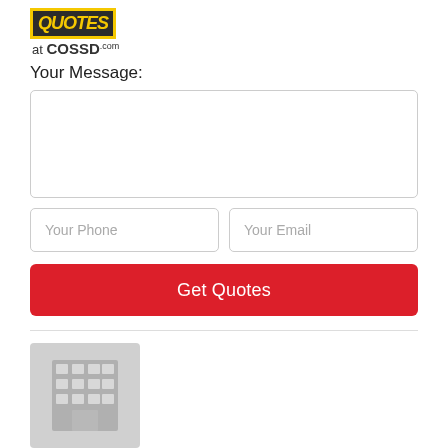[Figure (logo): Quotes at COSSD.com logo with yellow bordered dark box containing QUOTES text and 'at COSSD.com' below]
Your Message:
[Figure (other): Message textarea input box]
[Figure (other): Your Phone and Your Email input fields side by side]
[Figure (other): Get Quotes red button]
[Figure (other): Company building placeholder image icon]
Hunt Hotshot Oilfield Services Ltd
Hot Shot Trucking